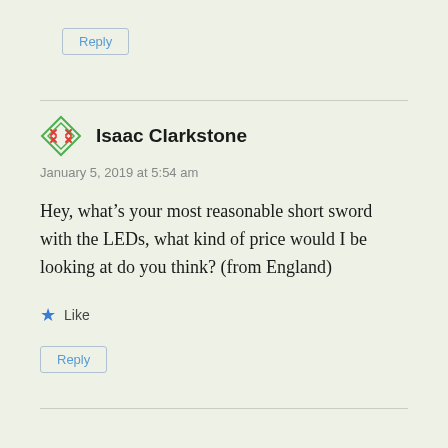Reply
Isaac Clarkstone
January 5, 2019 at 5:54 am
Hey, what’s your most reasonable short sword with the LEDs, what kind of price would I be looking at do you think? (from England)
Like
Reply